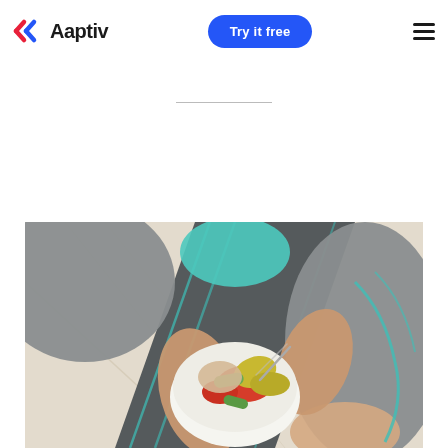Aaptiv — Try it free
[Figure (photo): Overhead view of a person in grey and teal athletic wear sitting on a yoga mat, holding a white bowl of salad with tomatoes, avocado, cucumber, and chicken, using a fork.]